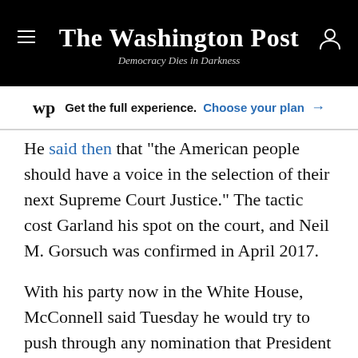The Washington Post — Democracy Dies in Darkness
wp Get the full experience. Choose your plan →
He said then that “the American people should have a voice in the selection of their next Supreme Court Justice.” The tactic cost Garland his spot on the court, and Neil M. Gorsuch was confirmed in April 2017.
With his party now in the White House, McConnell said Tuesday he would try to push through any nomination that President Trump might make to the high court — even if it comes during an election year. Some saw that stance, which McConnell has signaled before, as hypocritical.